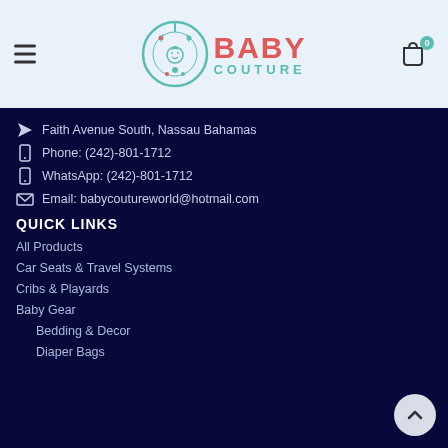[Figure (logo): Baby Couture logo with circular teal design and red/teal text]
Faith Avenue South, Nassau Bahamas
Phone: (242)-801-1712
WhatsApp: (242)-801-1712
Email: babycoutureworld@hotmail.com
QUICK LINKS
All Products
Car Seats & Travel Systems
Cribs & Playards
Baby Gear
Bedding & Decor
Diaper Bags